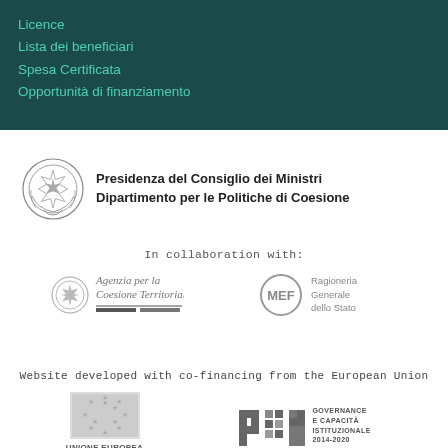Licence
Lista dei beneficiari
Spesa Certificata
Opportunità di finanziamento
[Figure (logo): Italian Republic emblem / coat of arms for Presidenza del Consiglio dei Ministri]
Presidenza del Consiglio dei Ministri
Dipartimento per le Politiche di Coesione
In collaboration with:
[Figure (logo): Agenzia per la Coesione Territoriale logo with Italian Republic emblem]
[Figure (logo): MEF Ragioneria Generale dello Stato logo]
Website developed with co-financing from the European Union
[Figure (logo): EU flag - UNIONE EUROPEA Fondo Europeo di Sviluppo Regionale]
[Figure (logo): PON Governance e Capacità Istituzionale 2014-2020 logo]